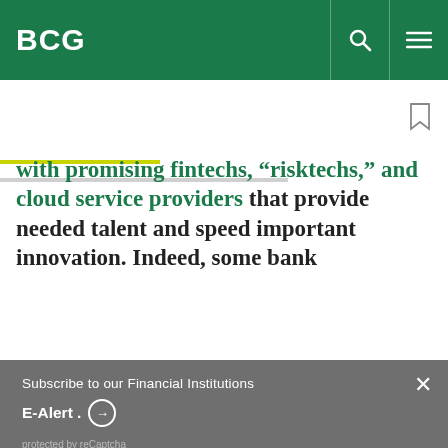BCG
with promising fintechs, “risktechs,” and cloud service providers that provide needed talent and speed important innovation. Indeed, some bank
Subscribe to our Financial Institutions E-Alert . →
protected by reCaptcha
By using this site, you agree with our use of cookies.
I consent to cookies
Want to know more?
Read our Cookie Policy